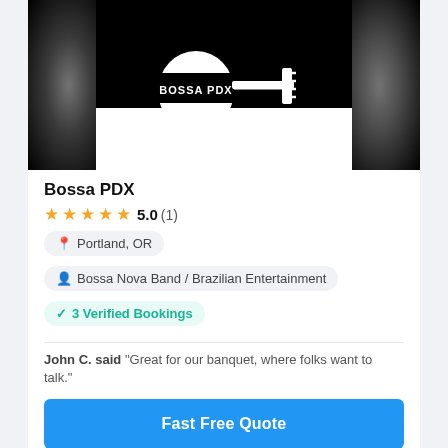[Figure (logo): Bossa PDX logo: white guitar silhouette with 'BOSSA PDX' text on black background]
Bossa PDX
★★★★★ 5.0 (1)
Portland, OR
Bossa Nova Band / Brazilian Entertainment
3 Verified Bookings
John C. said "Great for our banquet, where folks want to talk."
Fast Free Quote